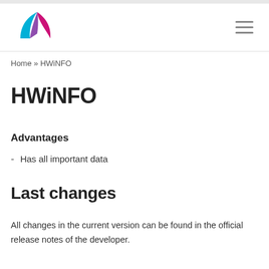Home » HWiNFO
HWiNFO
Advantages
Has all important data
Last changes
All changes in the current version can be found in the official release notes of the developer.